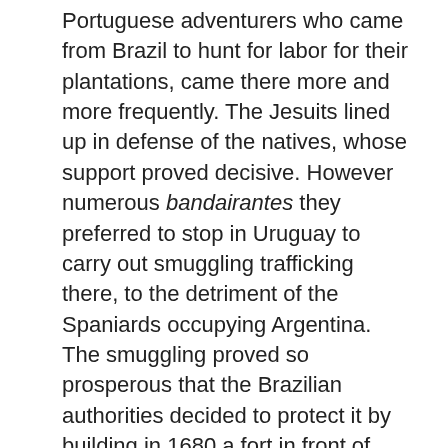Portuguese adventurers who came from Brazil to hunt for labor for their plantations, came there more and more frequently. The Jesuits lined up in defense of the natives, whose support proved decisive. However numerous bandairantes they preferred to stop in Uruguay to carry out smuggling trafficking there, to the detriment of the Spaniards occupying Argentina. The smuggling proved so prosperous that the Brazilian authorities decided to protect it by building in 1680 a fort in front of Buenos Aires, called Colonia do Sacramento, which was the cause of a close struggle with Spain, until with the Treaty of Utrecht in 1713 the fort returned to Portugal. To balance this loss, from 1724 the Spaniards built Montevideo and made it the capital of a district, used for cattle breeding, after having exterminated the natives of Ciarrua who lived there. New conflicts between Spain and Portugal ended with the Treaty of San Ildefonso of 1777 which recognized the